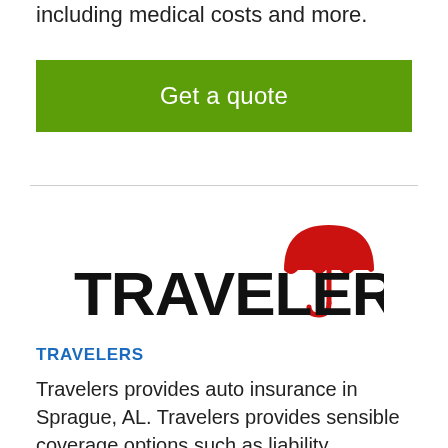including medical costs and more.
Get a quote
[Figure (logo): Travelers insurance logo: bold black text 'TRAVELERS' with a red umbrella icon above the letter J]
TRAVELERS
Travelers provides auto insurance in Sprague, AL. Travelers provides sensible coverage options such as liability coverage that provides protection, coverage for light